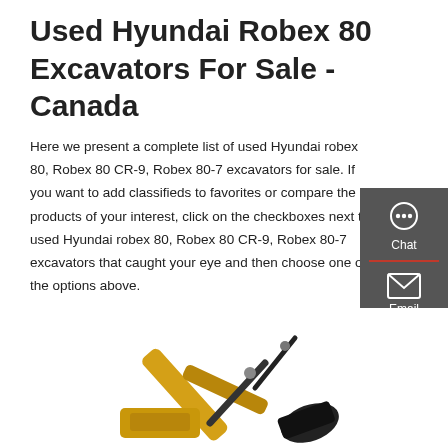Used Hyundai Robex 80 Excavators For Sale - Canada
Here we present a complete list of used Hyundai robex 80, Robex 80 CR-9, Robex 80-7 excavators for sale. If you want to add classifieds to favorites or compare the products of your interest, click on the checkboxes next to used Hyundai robex 80, Robex 80 CR-9, Robex 80-7 excavators that caught your eye and then choose one of the options above.
Get a quote
[Figure (photo): Partial view of a yellow Hyundai excavator arm and bucket]